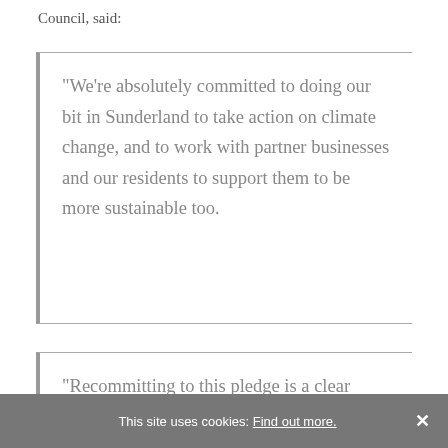Council, said:
“We’re absolutely committed to doing our bit in Sunderland to take action on climate change, and to work with partner businesses and our residents to support them to be more sustainable too.
“Recommitting to this pledge is a clear
This site uses cookies: Find out more. ×